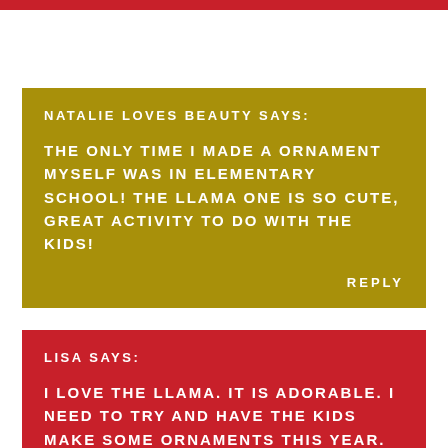NATALIE LOVES BEAUTY SAYS:
THE ONLY TIME I MADE A ORNAMENT MYSELF WAS IN ELEMENTARY SCHOOL! THE LLAMA ONE IS SO CUTE, GREAT ACTIVITY TO DO WITH THE KIDS!
REPLY
LISA SAYS:
I LOVE THE LLAMA. IT IS ADORABLE. I NEED TO TRY AND HAVE THE KIDS MAKE SOME ORNAMENTS THIS YEAR.